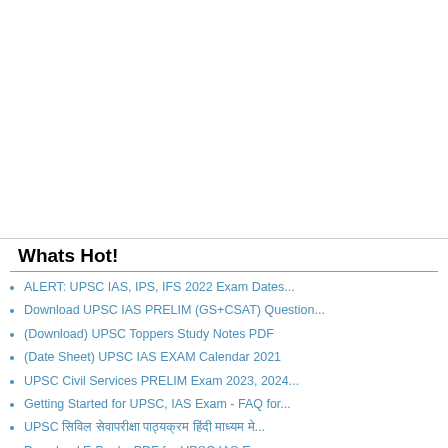Whats Hot!
ALERT: UPSC IAS, IPS, IFS 2022 Exam Dates...
Download UPSC IAS PRELIM (GS+CSAT) Question...
(Download) UPSC Toppers Study Notes PDF
(Date Sheet) UPSC IAS EXAM Calendar 2021
UPSC Civil Services PRELIM Exam 2023, 2024...
Getting Started for UPSC, IAS Exam - FAQ for...
UPSC सिविल सेवा‍परीक्षा पाठ्यक्रम हिंदी माध्यम मे...
Download E-Books PDF for UPSC IAS E...